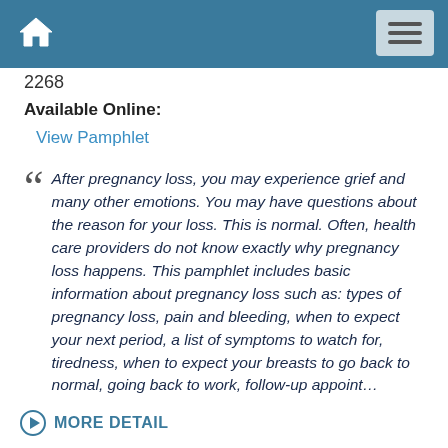Navigation bar with home and menu icons
2268
Available Online:
View Pamphlet
After pregnancy loss, you may experience grief and many other emotions. You may have questions about the reason for your loss. This is normal. Often, health care providers do not know exactly why pregnancy loss happens. This pamphlet includes basic information about pregnancy loss such as: types of pregnancy loss, pain and bleeding, when to expect your next period, a list of symptoms to watch for, tiredness, when to expect your breasts to go back to normal, going back to work, follow-up appoint…
MORE DETAIL